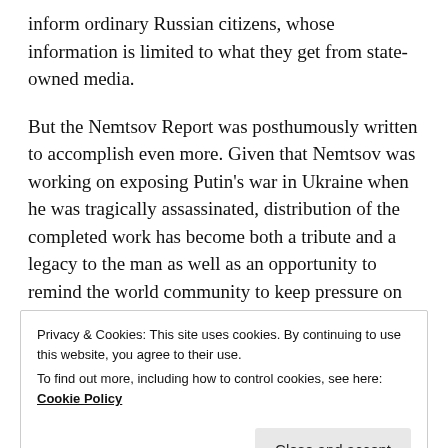inform ordinary Russian citizens, whose information is limited to what they get from state-owned media.
But the Nemtsov Report was posthumously written to accomplish even more. Given that Nemtsov was working on exposing Putin's war in Ukraine when he was tragically assassinated, distribution of the completed work has become both a tribute and a legacy to the man as well as an opportunity to remind the world community to keep pressure on the Putin regime to bring Nemtsov's killers to justice.
Privacy & Cookies: This site uses cookies. By continuing to use this website, you agree to their use. To find out more, including how to control cookies, see here: Cookie Policy
three months to the day after Boris Nemtsov was gunned